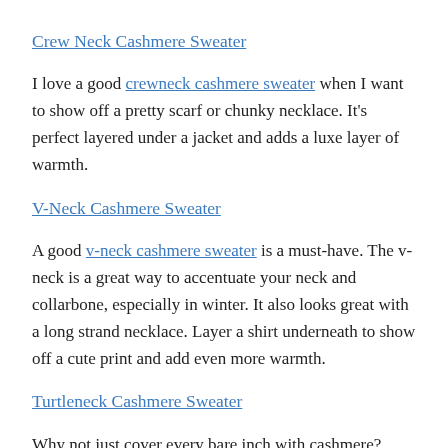Crew Neck Cashmere Sweater
I love a good crewneck cashmere sweater when I want to show off a pretty scarf or chunky necklace. It’s perfect layered under a jacket and adds a luxe layer of warmth.
V-Neck Cashmere Sweater
A good v-neck cashmere sweater is a must-have. The v-neck is a great way to accentuate your neck and collarbone, especially in winter. It also looks great with a long strand necklace. Layer a shirt underneath to show off a cute print and add even more warmth.
Turtleneck Cashmere Sweater
Why not just cover every bare inch with cashmere? That’s what the turtleneck cashmere sweater does best! It looks so chic